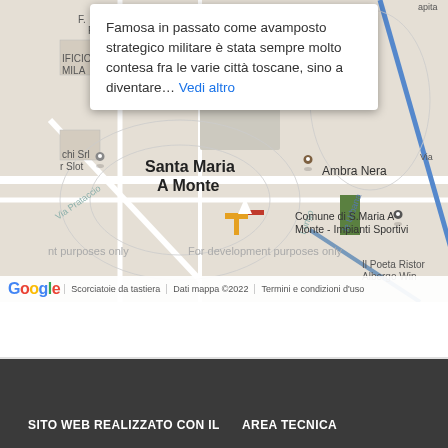[Figure (map): Google Maps screenshot showing Santa Maria A Monte area in Tuscany, Italy. A popup info box is open showing text about the town. Map shows local landmarks including Ambra Nera restaurant, Comune di S.Maria A Monte - Impianti Sportivi, and street labels. Google branding and map attribution bar at bottom.]
Famosa in passato come avamposto strategico militare è stata sempre molto contesa fra le varie città toscane, sino a diventare... Vedi altro
SITO WEB REALIZZATO CON IL
AREA TECNICA